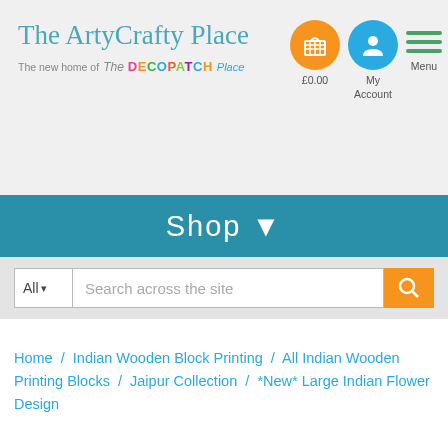The ArtyCrafty Place — The new home of The Decopatch Place
£0.00  My Account  Menu
Shop ▼
All▼  Search across the site  🔍
Home / Indian Wooden Block Printing / All Indian Wooden Printing Blocks / Jaipur Collection / *New* Large Indian Flower Design
*New* Large Indian Flower Design